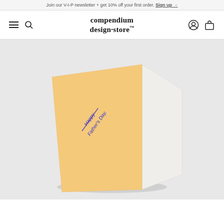Join our V-I-P newsletter + get 10% off your first order. Sign up →
compendium design·store™
[Figure (photo): A greeting card with a peach/yellow cover showing 'Happy Father's Day.' in blue text, displayed at an angle as a folded card mockup against a light grey background.]